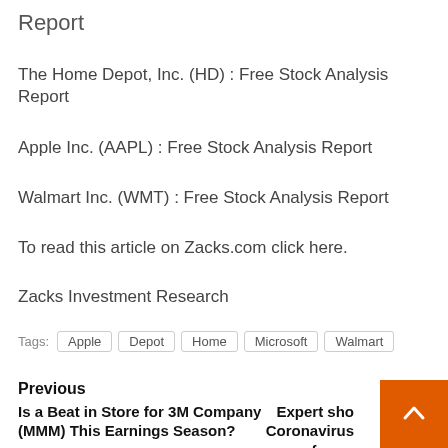Report
The Home Depot, Inc. (HD) : Free Stock Analysis Report
Apple Inc. (AAPL) : Free Stock Analysis Report
Walmart Inc. (WMT) : Free Stock Analysis Report
To read this article on Zacks.com click here.
Zacks Investment Research
Tags: Apple  Depot  Home  Microsoft  Walmart
Previous
Next
Is a Beat in Store for 3M Company (MMM) This Earnings Season?
Expert sho… Coronavirus face s…